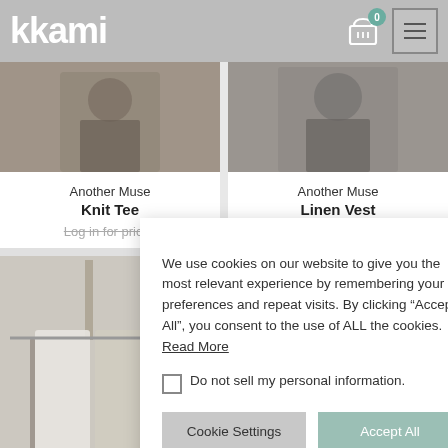kkami
Another Muse
Knit Tee
Log in for prices
Another Muse
Linen Vest
Log in for prices
[Figure (screenshot): Cookie consent dialog overlay on a fashion e-commerce website (kkami). Dialog text: We use cookies on our website to give you the most relevant experience by remembering your preferences and repeat visits. By clicking "Accept All", you consent to the use of ALL the cookies. Read More. Checkbox: Do not sell my personal information. Buttons: Cookie Settings, Accept All.]
We use cookies on our website to give you the most relevant experience by remembering your preferences and repeat visits. By clicking “Accept All”, you consent to the use of ALL the cookies. Read More
Do not sell my personal information.
Cookie Settings
Accept All